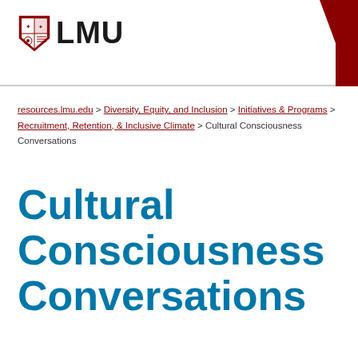[Figure (logo): LMU university logo with shield crest and 'LMU' text in bold]
resources.lmu.edu > Diversity, Equity, and Inclusion > Initiatives & Programs > Recruitment, Retention, & Inclusive Climate > Cultural Consciousness Conversations
Cultural Consciousness Conversations